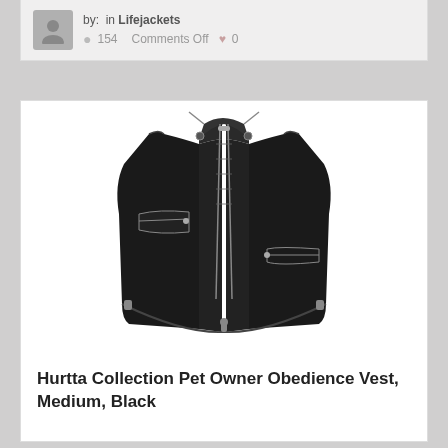by: in Lifejackets  154  Comments Off  0
[Figure (photo): Black sleeveless vest/gilet (Hurtta Collection Pet Owner Obedience Vest) displayed on a white background. The vest is black with silver zippers and a high collar.]
Hurtta Collection Pet Owner Obedience Vest, Medium, Black